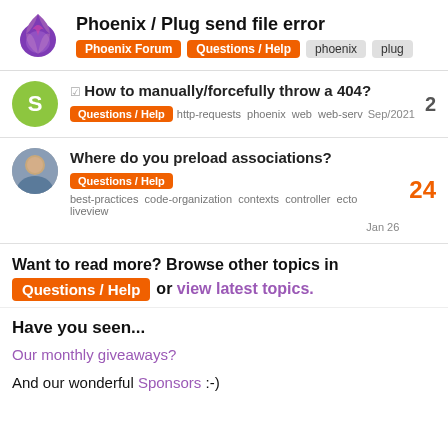Phoenix / Plug send file error — Phoenix Forum | Questions / Help | phoenix | plug
How to manually/forcefully throw a 404? — Questions / Help — http-requests phoenix web web-serv — Sep/2021 — 2 replies
Where do you preload associations? — Questions / Help — best-practices code-organization contexts controller ecto liveview — Jan 26 — 24 replies
Want to read more? Browse other topics in Questions / Help or view latest topics.
Have you seen...
Our monthly giveaways?
And our wonderful Sponsors :-)